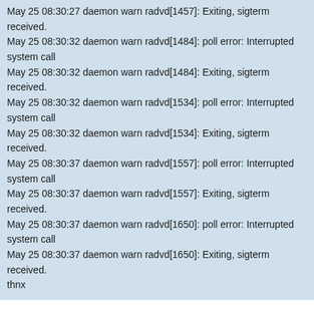May 25 08:30:27 daemon warn radvd[1457]: Exiting, sigterm received.
May 25 08:30:32 daemon warn radvd[1484]: poll error: Interrupted system call
May 25 08:30:32 daemon warn radvd[1484]: Exiting, sigterm received.
May 25 08:30:32 daemon warn radvd[1534]: poll error: Interrupted system call
May 25 08:30:32 daemon warn radvd[1534]: Exiting, sigterm received.
May 25 08:30:37 daemon warn radvd[1557]: poll error: Interrupted system call
May 25 08:30:37 daemon warn radvd[1557]: Exiting, sigterm received.
May 25 08:30:37 daemon warn radvd[1650]: poll error: Interrupted system call
May 25 08:30:37 daemon warn radvd[1650]: Exiting, sigterm received.
thnx
billion_fan
Re: Billion - Logs
Tue May 28, 2019 9:29 am
Elti90 wrote: ↑
Hi guys just checked my system log for my BiPAC 7700NR4 today and soon unusual events listed that I've never seen before any ideas...